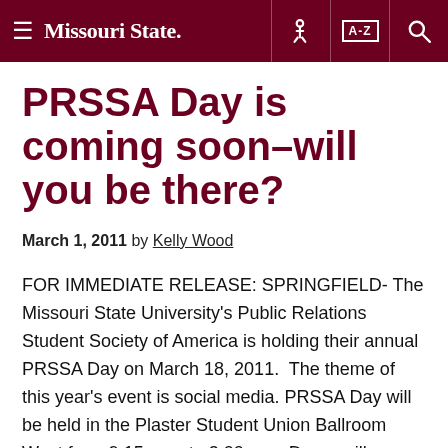Missouri State [navigation header with hamburger menu, key icon, A-Z index, and search icon]
PRSSA Day is coming soon–will you be there?
March 1, 2011 by Kelly Wood
FOR IMMEDIATE RELEASE: SPRINGFIELD- The Missouri State University's Public Relations Student Society of America is holding their annual PRSSA Day on March 18, 2011.  The theme of this year's event is social media. PRSSA Day will be held in the Plaster Student Union Ballroom West from 9:15 a.m. to 2:00 p.m. Doors will open for registration at 9:15 a.m. Pre-registration is … [Read more…]